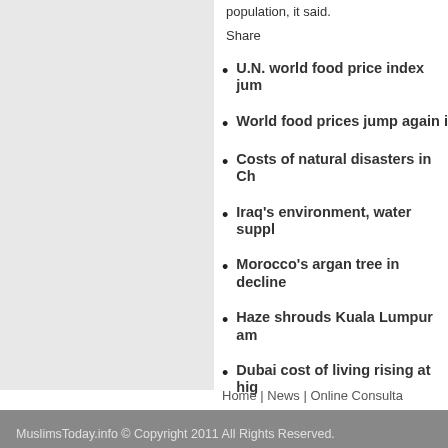population, it said.
Share
U.N. world food price index jum…
World food prices jump again i…
Costs of natural disasters in Ch…
Iraq's environment, water suppl…
Morocco's argan tree in decline…
Haze shrouds Kuala Lumpur am…
Dubai cost of living rising at hig…
Home | News | Online Consulta…
MuslimsToday.info © Copyright 2011 All Rights Reserved.